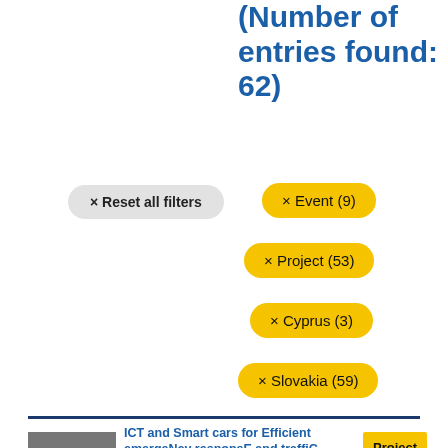Search results (Number of entries found: 62)
× Reset all filters
× Event (9)
× Project (53)
× Cyprus (3)
× Slovakia (59)
SENECA
ICT and Smart cars for Efficient emergeNcy responsE and traffiC manAGement
Project
Duration: October 2018 - September 2020
Status: Complete
STRIA Transport